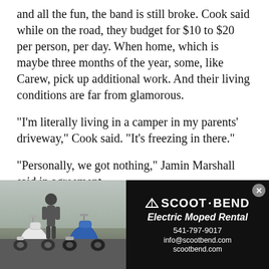and all the fun, the band is still broke. Cook said while on the road, they budget for $10 to $20 per person, per day. When home, which is maybe three months of the year, some, like Carew, pick up additional work. And their living conditions are far from glamorous.
"I'm literally living in a camper in my parents' driveway," Cook said. "It's freezing in there."
"Personally, we got nothing," Jamin Marshall said in agreement.
But the Flask has plans to keep more money in their collective pockets. Their new album will be under a new record label, their own, "Slam It If You Love It."
"You don't need them [record label companies] and they know it," Jamin Marshall said.
[Figure (photo): Advertisement for Scoot Bend Electric Moped Rental. Left half shows a photo of a person standing next to two electric mopeds/scooters outdoors. Right half is black with white text: SCOOT·BEND logo with tent icon, 'Electric Moped Rental', '541-797-9017', 'info@scootbend.com', 'scootbend.com'. A close/X button appears in top right corner.]